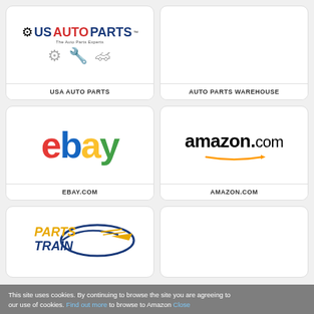[Figure (logo): USA Auto Parts logo with gear icon and auto parts imagery]
USA AUTO PARTS
[Figure (logo): Auto Parts Warehouse logo (blank/white card)]
AUTO PARTS WAREHOUSE
[Figure (logo): eBay logo in red, blue, yellow, green letters]
EBAY.COM
[Figure (logo): Amazon.com logo with arrow]
AMAZON.COM
[Figure (logo): Parts Train logo with italic text and swoosh]
This site uses cookies. By continuing to browse the site you are agreeing to our use of cookies. Find out more to browse to Amazon Close